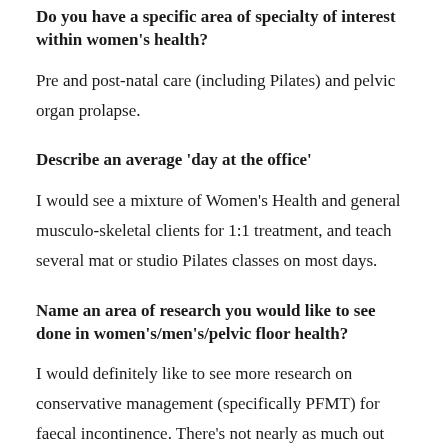Do you have a specific area of specialty of interest within women's health?
Pre and post-natal care (including Pilates) and pelvic organ prolapse.
Describe an average 'day at the office'
I would see a mixture of Women's Health and general musculo-skeletal clients for 1:1 treatment, and teach several mat or studio Pilates classes on most days.
Name an area of research you would like to see done in women's/men's/pelvic floor health?
I would definitely like to see more research on conservative management (specifically PFMT) for faecal incontinence. There’s not nearly as much out there as on urinary incontinence.
It would also be great to do a trial of ‘usual’ postnatal care, as done in Australia versus the